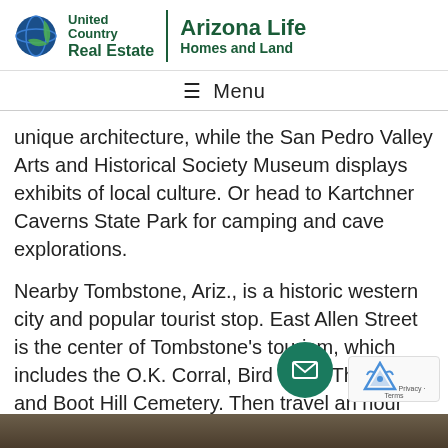[Figure (logo): United Country Real Estate | Arizona Life Homes and Land logo]
☰ Menu
unique architecture, while the San Pedro Valley Arts and Historical Society Museum displays exhibits of local culture. Or head to Kartchner Caverns State Park for camping and cave explorations.
Nearby Tombstone, Ariz., is a historic western city and popular tourist stop. East Allen Street is the center of Tombstone's tourism, which includes the O.K. Corral, Bird Cage Theatre and Boot Hill Cemetery. Then travel an hour south to Willcox for the city's spring or fall wine festival, or Rex Allen Days, one of the state's heralded rod
[Figure (photo): Bottom image strip showing a dark landscape or rock scene]